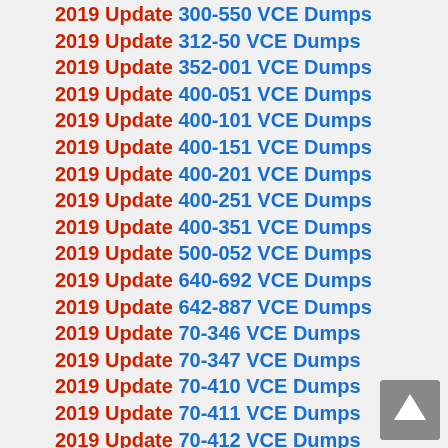2019 Update 300-550 VCE Dumps
2019 Update 312-50 VCE Dumps
2019 Update 352-001 VCE Dumps
2019 Update 400-051 VCE Dumps
2019 Update 400-101 VCE Dumps
2019 Update 400-151 VCE Dumps
2019 Update 400-201 VCE Dumps
2019 Update 400-251 VCE Dumps
2019 Update 400-351 VCE Dumps
2019 Update 500-052 VCE Dumps
2019 Update 640-692 VCE Dumps
2019 Update 642-887 VCE Dumps
2019 Update 70-346 VCE Dumps
2019 Update 70-347 VCE Dumps
2019 Update 70-410 VCE Dumps
2019 Update 70-411 VCE Dumps
2019 Update 70-412 VCE Dumps
2019 Update 70-414 VCE Dumps
2019 Update 70-417 VCE Dumps
2019 Update 70-461 VCE Dumps
2019 Update 70-480 VCE Dumps
2019 Update 70-483 VCE Dumps